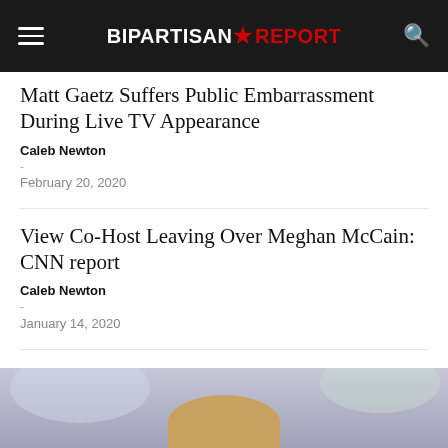BIPARTISAN REPORT
Matt Gaetz Suffers Public Embarrassment During Live TV Appearance
Caleb Newton
February 20, 2020
View Co-Host Leaving Over Meghan McCain: CNN report
Caleb Newton
January 14, 2020
Schiff Schools McCain On Impeachment LIVE On 'The View'
Caleb Newton
January 13, 2020
[Figure (photo): Bottom portion of page showing a photo of a person, partially cropped, with a blurred background.]